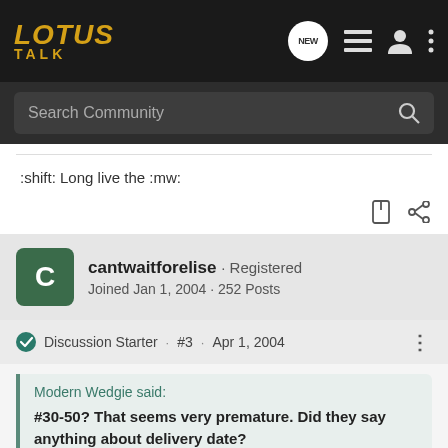[Figure (logo): Lotus Talk forum logo in gold/yellow on dark background]
Search Community
:shift: Long live the :mw:
cantwaitforelise · Registered
Joined Jan 1, 2004 · 252 Posts
Discussion Starter · #3 · Apr 1, 2004
Modern Wedgie said:
#30-50? That seems very premature. Did they say anything about delivery date?